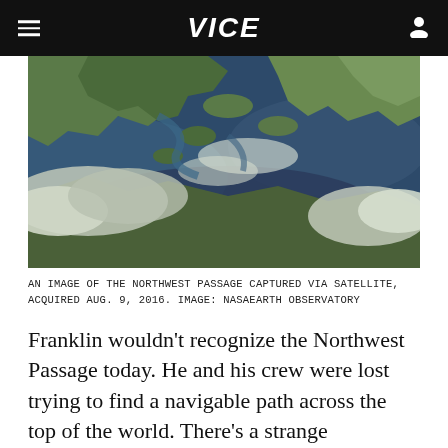VICE
[Figure (photo): Satellite image of the Northwest Passage showing Arctic archipelago, sea passages, and cloud cover, acquired August 9, 2016.]
AN IMAGE OF THE NORTHWEST PASSAGE CAPTURED VIA SATELLITE, ACQUIRED AUG. 9, 2016. IMAGE: NASAEARTH OBSERVATORY
Franklin wouldn't recognize the Northwest Passage today. He and his crew were lost trying to find a navigable path across the top of the world. There's a strange symmetry to the fact that, as Parks Canada seeks out his missing wreck, thousands of paying passengers are